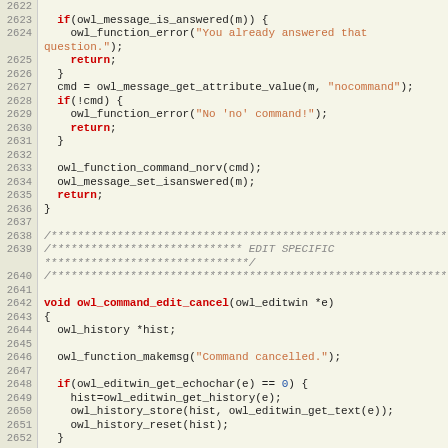Source code listing, lines 2622-2652, C code for owl message/edit commands